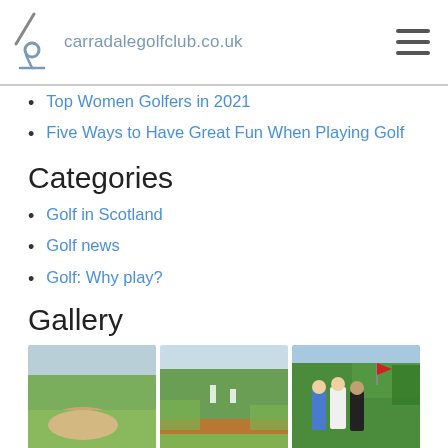carradalegolfclub.co.uk
Top Women Golfers in 2021
Five Ways to Have Great Fun When Playing Golf
Categories
Golf in Scotland
Golf news
Golf: Why play?
Gallery
[Figure (photo): Three golf course photos: a bunker view, a fairway with gorse, and golfers on a tee]